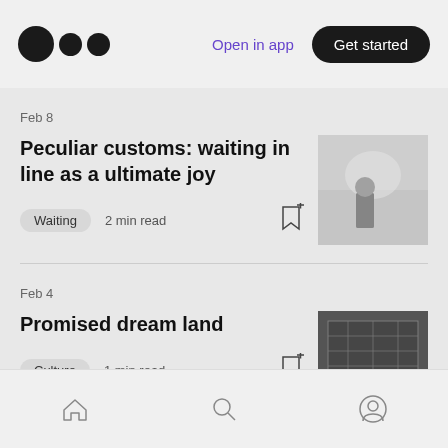Open in app  Get started
Feb 8
Peculiar customs: waiting in line as a ultimate joy
[Figure (photo): Black and white photo of a person in snowy or misty outdoor scene]
Waiting  2 min read
Feb 4
Promised dream land
[Figure (photo): Black and white aerial or architectural photo of a building]
Culture  1 min read
Home  Search  Profile